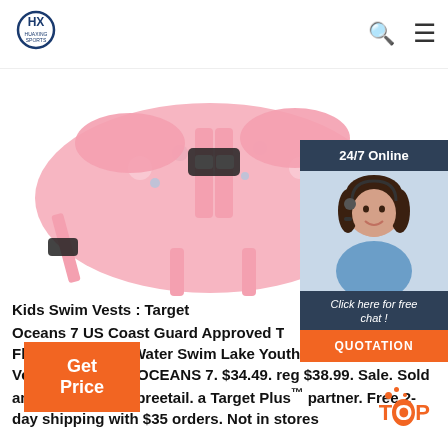HUAXING SPORTS
[Figure (photo): Pink kids swim vest / life jacket with floral pattern and black buckle straps, shown from the back/top view on white background]
[Figure (photo): 24/7 Online chat widget showing a female customer service agent with headset, with 'Click here for free chat!' text and QUOTATION button]
Kids Swim Vests : Target Oceans 7 US Coast Guard Approved Type III Personal Flotation Device Water Swim Lake Youth Life Jacket Safety Vest, Blue/White. OCEANS 7. $34.49. reg $38.99. Sale. Sold and shipped by Spreetail. a Target Plus™ partner. Free 2-day shipping with $35 orders. Not in stores
Get Price